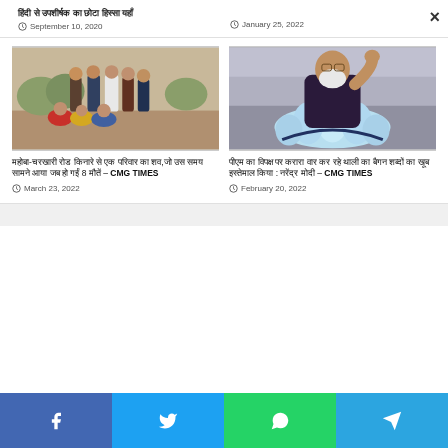हिंदी शीर्षक (Hindi headline partial)
September 10, 2020
January 25, 2022
[Figure (photo): Group of people including men and women sitting and standing outdoors in a rural setting]
महोबा-चरखारी रोड किनारे से एक परिवार का शव,जो उस समय सामने आया जब हो गईं 8 मौतें – CMG TIMES
March 23, 2022
[Figure (photo): Narendra Modi speaking at a BJP rally, BJP lotus symbol visible in foreground]
पीएम का विपक्ष पर करारा वार कर रहे थाली का बैगन शब्दों का खूब इस्तेमाल किया : नरेंद्र मोदी – CMG TIMES
February 20, 2022